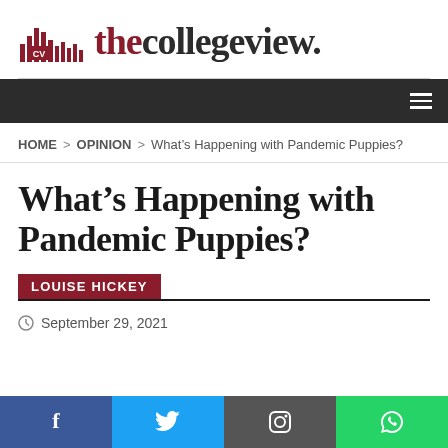[Figure (logo): The College View newspaper logo with city skyline icon and text 'thecollegeview.']
HOME > OPINION > What's Happening with Pandemic Puppies?
What's Happening with Pandemic Puppies?
LOUISE HICKEY
September 29, 2021
[Figure (infographic): Social media share buttons: Facebook, Twitter, Instagram, WhatsApp]